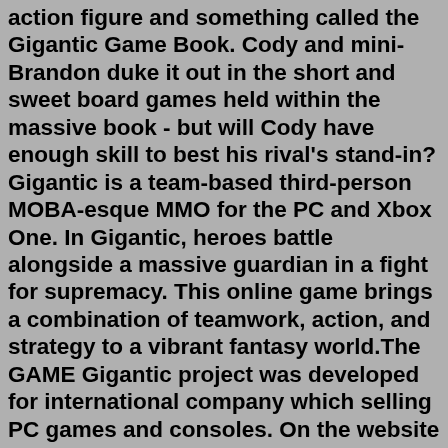action figure and something called the Gigantic Game Book. Cody and mini-Brandon duke it out in the short and sweet board games held within the massive book - but will Cody have enough skill to best his rival's stand-in?Gigantic is a team-based third-person MOBA-esque MMO for the PC and Xbox One. In Gigantic, heroes battle alongside a massive guardian in a fight for supremacy. This online game brings a combination of teamwork, action, and strategy to a vibrant fantasy world.The GAME Gigantic project was developed for international company which selling PC games and consoles. On the website you can buy games, get acquainted with new releases and view the latest news from the world of games.Testimonials. My sons birthday was this past weekend and renting the Gigantic Games for my sons party was the best thing I could’ve done. My wife and I didn’t want an ordinary party with the kids playing video games. We were embraced by Dereks remarkable charisma when we got to our event. He was at the event location early enough to set the